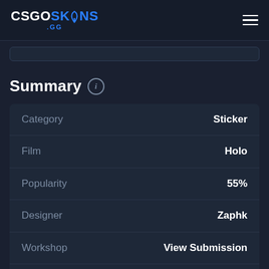CSGOSKINS .GG
Summary
| Category | Value |
| --- | --- |
| Category | Sticker |
| Film | Holo |
| Popularity | 55% |
| Designer | Zaphk |
| Workshop | View Submission |
| Released | March 28th, 2019 |
| Update | "EZ4VERTIGO" |